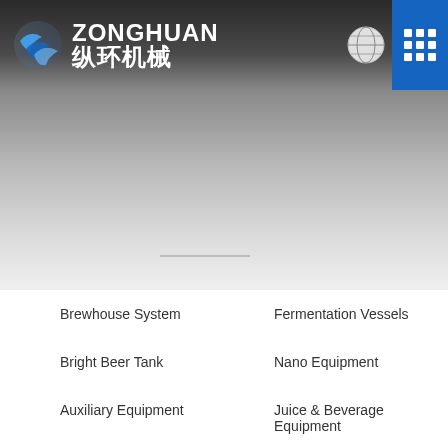[Figure (logo): Zonghuan machinery company logo with globe-like blue swirl graphic and Chinese text 纵环机械]
Brewhouse System
Fermentation Vessels
Bright Beer Tank
Nano Equipment
Auxiliary Equipment
Juice & Beverage Equipment
Special Stainless Steel Vessels